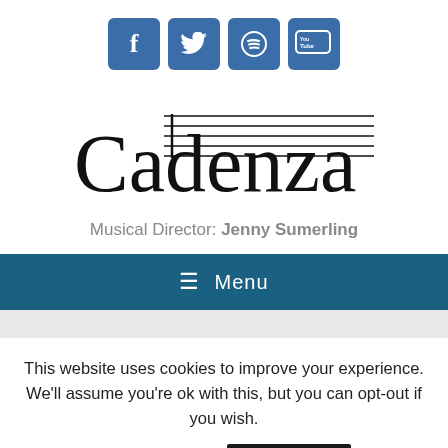[Figure (logo): Four social media icon buttons (Facebook, Twitter, Spotify, YouTube) displayed as blue rounded-corner squares]
[Figure (logo): Cadenza choir logo with stylized text and musical staff lines through the letters]
Musical Director: Jenny Sumerling
≡ Menu
This website uses cookies to improve your experience. We'll assume you're ok with this, but you can opt-out if you wish.
Cookie settings  ACCEPT